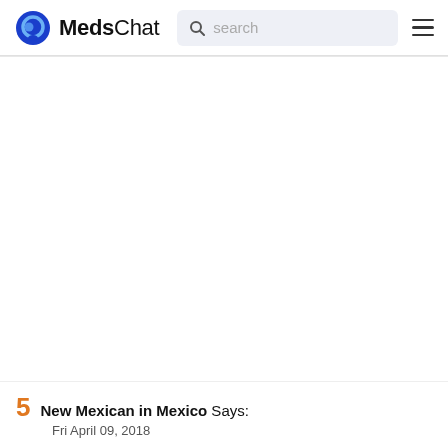MedsChat
[Figure (logo): MedsChat logo with blue circular chat bubble icon and search bar with hamburger menu]
New Mexican in Mexico Says:
Fri April 09, 2018